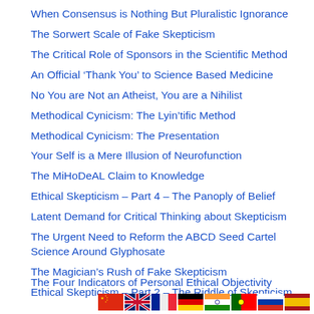When Consensus is Nothing But Pluralistic Ignorance
The Sorwert Scale of Fake Skepticism
The Critical Role of Sponsors in the Scientific Method
An Official ‘Thank You’ to Science Based Medicine
No You are Not an Atheist, You are a Nihilist
Methodical Cynicism: The Lyin’tific Method
Methodical Cynicism: The Presentation
Your Self is a Mere Illusion of Neurofunction
The MiHoDeAL Claim to Knowledge
Ethical Skepticism – Part 4 – The Panoply of Belief
Latent Demand for Critical Thinking about Skepticism
The Urgent Need to Reform the ABCD Seed Cartel Science Around Glyphosate
The Magician’s Rush of Fake Skepticism
Ethical Skepticism – Part 2 – The Riddle of Skepticism
The Four Indicators of Personal Ethical Objectivity